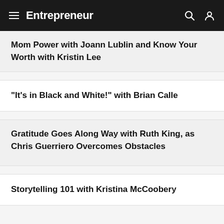Entrepreneur
Mom Power with Joann Lublin and Know Your Worth with Kristin Lee
"It's in Black and White!" with Brian Calle
Gratitude Goes Along Way with Ruth King, as Chris Guerriero Overcomes Obstacles
Storytelling 101 with Kristina McCoobery